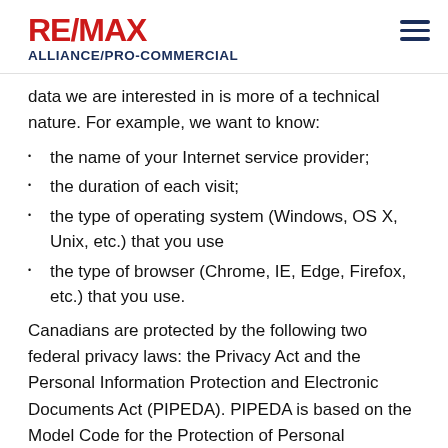[Figure (logo): RE/MAX ALLIANCE/PRO-COMMERCIAL logo in red and dark blue, with hamburger menu icon on right]
data we are interested in is more of a technical nature. For example, we want to know:
the name of your Internet service provider;
the duration of each visit;
the type of operating system (Windows, OS X, Unix, etc.) that you use
the type of browser (Chrome, IE, Edge, Firefox, etc.) that you use.
Canadians are protected by the following two federal privacy laws: the Privacy Act and the Personal Information Protection and Electronic Documents Act (PIPEDA). PIPEDA is based on the Model Code for the Protection of Personal